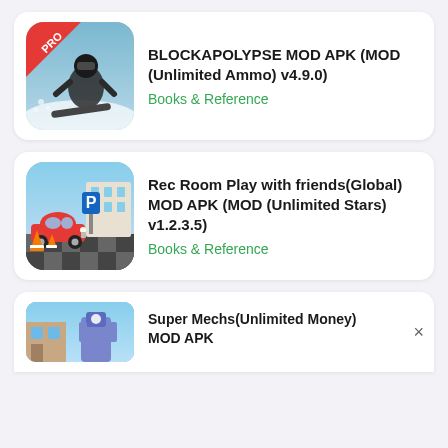[Figure (screenshot): App listing card 1: snowboarder game icon with PRO badge]
BLOCKAPOLYPSE MOD APK (MOD (Unlimited Ammo) v4.9.0)
Books & Reference
[Figure (screenshot): App listing card 2: red VW Beetle car parking game icon]
Rec Room Play with friends(Global) MOD APK (MOD (Unlimited Stars) v1.2.3.5)
Books & Reference
[Figure (screenshot): App listing card 3 partial: Super Mechs icon with blue sky]
Super Mechs(Unlimited Money) MOD APK